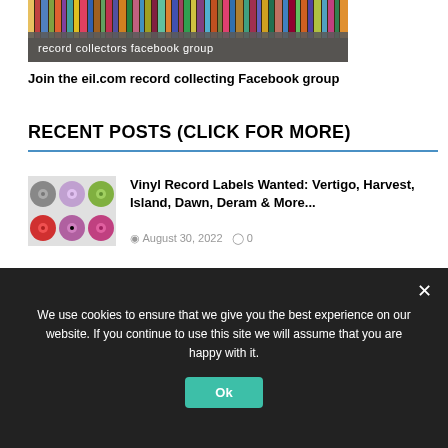[Figure (photo): Record collectors Facebook group banner image showing rows of vinyl record spines with a grey overlay bar containing white text 'record collectors facebook group']
Join the eil.com record collecting Facebook group
RECENT POSTS (CLICK FOR MORE)
[Figure (photo): Thumbnail image showing a grid of 6 colorful vinyl record labels in various colors]
Vinyl Record Labels Wanted: Vertigo, Harvest, Island, Dawn, Deram & More...
August 30, 2022   0
[Figure (logo): Blue square thumbnail with white italic bold text 'JST']
** LAST FEW DAYS ** Save up to 50% off rare Vinyl Records, CDs & Music Memorabilia In The eil.com August Sale
We use cookies to ensure that we give you the best experience on our website. If you continue to use this site we will assume that you are happy with it.